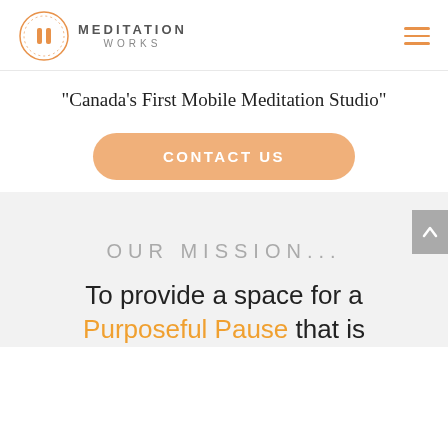MEDITATION WORKS
"Canada's First Mobile Meditation Studio"
CONTACT US
OUR MISSION...
To provide a space for a Purposeful Pause that is